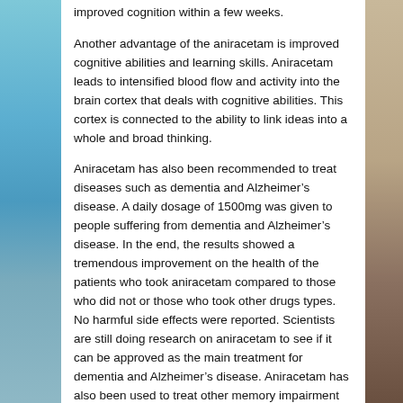improved cognition within a few weeks.
Another advantage of the aniracetam is improved cognitive abilities and learning skills. Aniracetam leads to intensified blood flow and activity into the brain cortex that deals with cognitive abilities. This cortex is connected to the ability to link ideas into a whole and broad thinking.
Aniracetam has also been recommended to treat diseases such as dementia and Alzheimer’s disease. A daily dosage of 1500mg was given to people suffering from dementia and Alzheimer’s disease. In the end, the results showed a tremendous improvement on the health of the patients who took aniracetam compared to those who did not or those who took other drugs types. No harmful side effects were reported. Scientists are still doing research on aniracetam to see if it can be approved as the main treatment for dementia and Alzheimer’s disease. Aniracetam has also been used to treat other memory impairment types,epilepsy and even stroke.